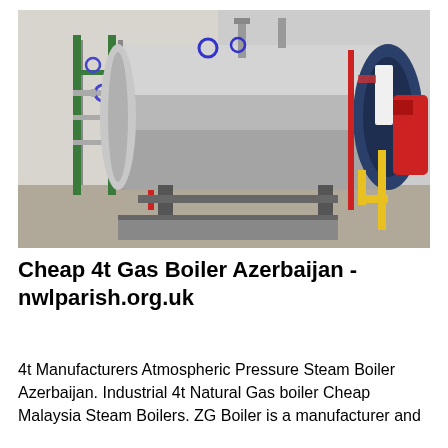[Figure (photo): Industrial gas boiler installation in a room. A large horizontal cylindrical stainless steel boiler tank sits on a metal frame. Behind it on the left wall are multiple pipes in green, red, and grey colors with valves and gauges. A yellow gas pipe is visible on the right side. The boiler has a circular blue burner end on the far right with red machinery attached.]
Cheap 4t Gas Boiler Azerbaijan - nwlparish.org.uk
4t Manufacturers Atmospheric Pressure Steam Boiler Azerbaijan. Industrial 4t Natural Gas boiler Cheap Malaysia Steam Boilers. ZG Boiler is a manufacturer and